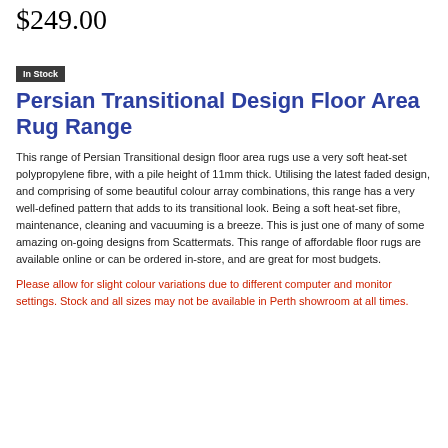$249.00
In Stock
Persian Transitional Design Floor Area Rug Range
This range of Persian Transitional design floor area rugs use a very soft heat-set polypropylene fibre, with a pile height of 11mm thick. Utilising the latest faded design, and comprising of some beautiful colour array combinations, this range has a very well-defined pattern that adds to its transitional look. Being a soft heat-set fibre, maintenance, cleaning and vacuuming is a breeze. This is just one of many of some amazing on-going designs from Scattermats. This range of affordable floor rugs are available online or can be ordered in-store, and are great for most budgets.
Please allow for slight colour variations due to different computer and monitor settings. Stock and all sizes may not be available in Perth showroom at all times.